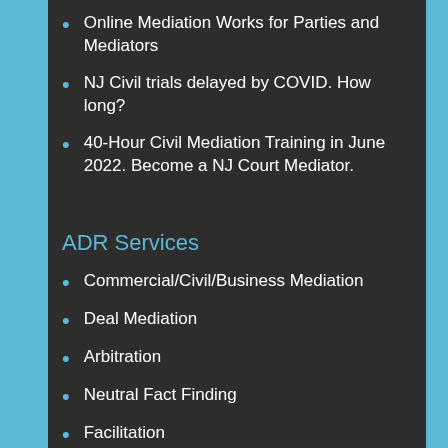Online Mediation Works for Parties and Mediators
NJ Civil trials delayed by COVID. How long?
40-Hour Civil Mediation Training in June 2022. Become a NJ Court Mediator.
ADR Services
Commercial/Civil/Business Mediation
Deal Mediation
Arbitration
Neutral Fact Finding
Facilitation
Negotiation Coaching and Assistance
Team Building and Conflict Resolution